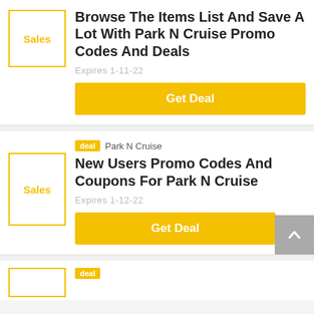[Figure (illustration): Sales label box with orange border]
Browse The Items List And Save A Lot With Park N Cruise Promo Codes And Deals
Expires 1-11-22
Get Deal
[Figure (illustration): Sales label box with orange border]
deal  Park N Cruise
New Users Promo Codes And Coupons For Park N Cruise
Expires 1-12-22
Get Deal